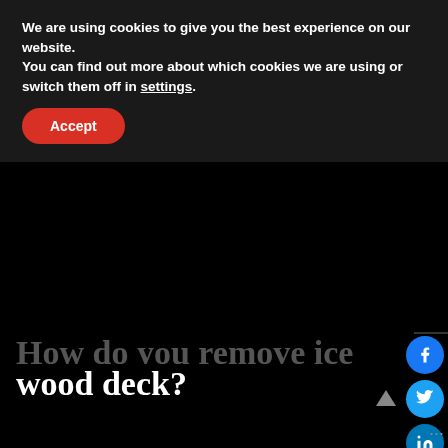We are using cookies to give you the best experience on our website.
You can find out more about which cookies we are using or switch them off in settings.
Accept
How do you remove ice from wood deck?
Best Methods to Remove Snow and Ice from Your Deck Use a broom. If snowfall is light enough, a broom is your best bet. Use a plastic, rubber-blade shovel. Leave a layer Avoid rocks, gravel, and sand. Avoid ice melt with colorant. Never use salt. Prepare you deck before it snows.
What home remedy melts ice?